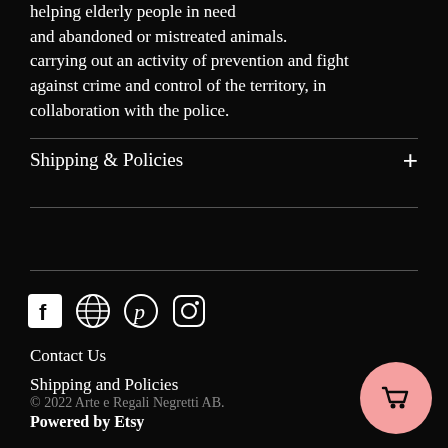helping elderly people in need and abandoned or mistreated animals. carrying out an activity of prevention and fight against crime and control of the territory, in collaboration with the police.
Shipping & Policies
[Figure (infographic): Social media icons: Facebook, globe/website, Pinterest, Instagram]
Contact Us
Shipping and Policies
© 2022 Arte e Regali Negretti AB.
Powered by Etsy
[Figure (illustration): Pink circular cart/shopping button in bottom right corner]